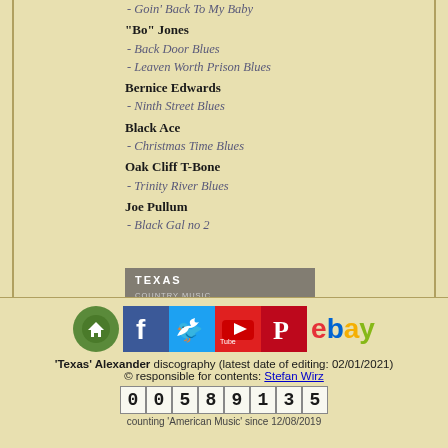- Goin' Back To My Baby
"Bo" Jones
- Back Door Blues
- Leaven Worth Prison Blues
Bernice Edwards
- Ninth Street Blues
Black Ace
- Christmas Time Blues
Oak Cliff T-Bone
- Trinity River Blues
Joe Pullum
- Black Gal no 2
[Figure (photo): Album cover for Texas Country Music showing an old weathered wooden building/house in black and white with text 'TEXAS COUNTRY MUSIC' overlaid]
[Figure (infographic): Social media icons row: home (green circle), Facebook (blue), Twitter (blue), YouTube (red), Pinterest (red), eBay logo]
'Texas' Alexander discography (latest date of editing: 02/01/2021) © responsible for contents: Stefan Wirz counting 'American Music' since 12/08/2019